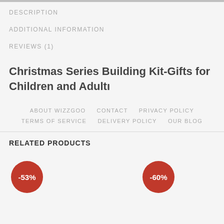DESCRIPTION
ADDITIONAL INFORMATION
REVIEWS (1)
Christmas Series Building Kit-Gifts for Children and Adultı
ABOUT WIZZGOO   CONTACT   PRIVACY POLICY   TERMS OF SERVICE   DELIVERY POLICY   OUR BLOG
RELATED PRODUCTS
-53%
-60%